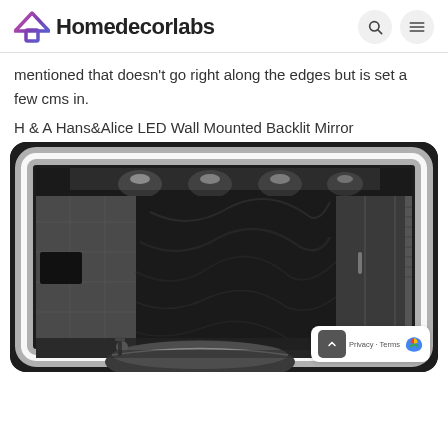Homedecorlabs
mentioned that doesn’t go right along the edges but is set a few cms in.
H & A Hans&Alice LED Wall Mounted Backlit Mirror
[Figure (photo): An LED backlit bathroom mirror showing a dark modern bathroom with ceiling recessed lights, a glass shower enclosure on the right, stone/marble tile walls, a freestanding bathtub at bottom center, and dramatic black accent wall. The mirror has a glowing white backlight around its perimeter set inward from the edge.]